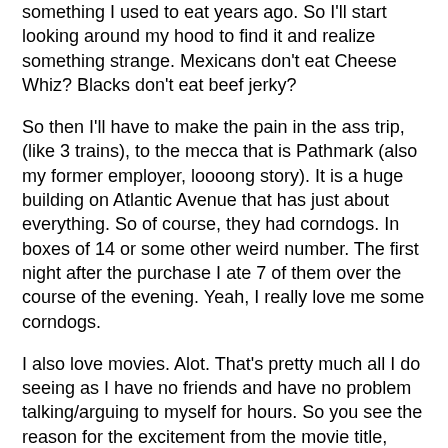something I used to eat years ago. So I'll start looking around my hood to find it and realize something strange. Mexicans don't eat Cheese Whiz? Blacks don't eat beef jerky?
So then I'll have to make the pain in the ass trip, (like 3 trains), to the mecca that is Pathmark (also my former employer, loooong story). It is a huge building on Atlantic Avenue that has just about everything. So of course, they had corndogs. In boxes of 14 or some other weird number. The first night after the purchase I ate 7 of them over the course of the evening. Yeah, I really love me some corndogs.
I also love movies. Alot. That's pretty much all I do seeing as I have no friends and have no problem talking/arguing to myself for hours. So you see the reason for the excitement from the movie title, Corndog Man. The only thing better, I think, would have been The Corndog Whiskey Man. But then I probably would have had a heart attack. Click through for an awesome clip from the movie regarding guinea pigs and review. Also, the link to watch it streaming online. DVD quality, of course. No Netflix needed.